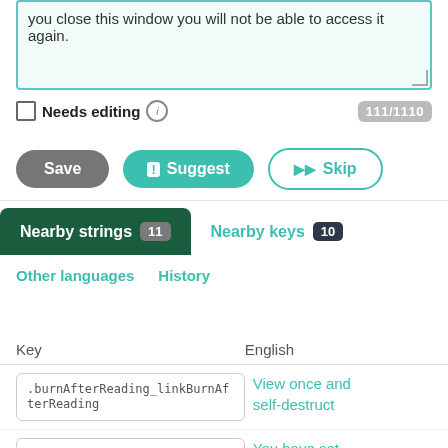you close this window you will not be able to access it again.
Needs editing ℹ  111/1110
Save | Suggest | Skip
Nearby strings 11   Nearby keys 10   Other languages   History
| Key | English |
| --- | --- |
| .burnAfterReading_linkBurnAfterReading | View once and self-destruct |
| .burnAfterReading_warningLink | You have set this document to self- |